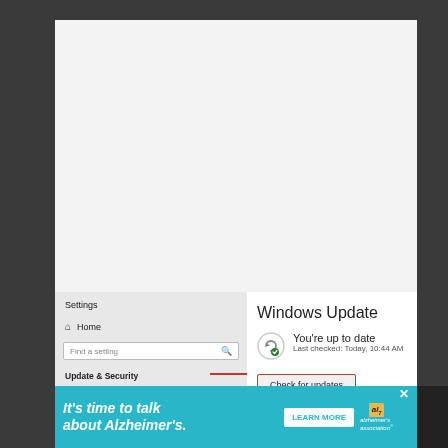[Figure (screenshot): Windows 10 Settings screenshot showing Windows Update panel. Left side shows 'Settings' header, Home link, 'Find a setting' search box, 'Update & Security' section header, and 'Windows Update' menu item highlighted in blue with red border. Right side shows 'Windows Update' title, green checkmark icon with 'You're up to date' status, 'Last checked: Today, 10:44 AM', and a 'Check for updates' button with red border. A red arrow points from the Windows Update menu item to the Check for updates button.]
[Figure (screenshot): Advertisement banner at the bottom: teal/cyan background with italic bold white text 'It's time to talk about Alzheimer's.' A white 'LEARN MORE' button and Alzheimer's Association logo with close X button on the right.]